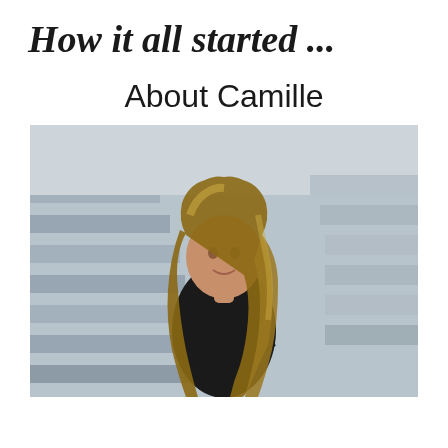How it all started ...
About Camille
[Figure (photo): Professional headshot of a young woman with long wavy blonde-highlighted hair, wearing a black sleeveless top with arms crossed, standing in front of blurred concrete stairs background]